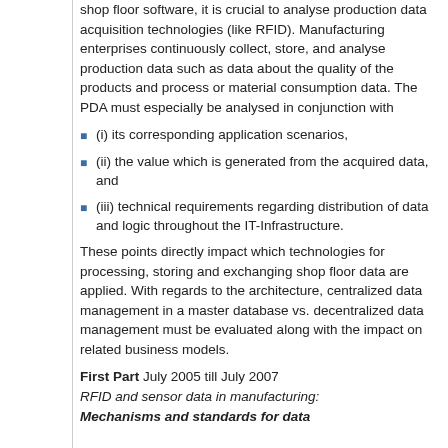shop floor software, it is crucial to analyse production data acquisition technologies (like RFID). Manufacturing enterprises continuously collect, store, and analyse production data such as data about the quality of the products and process or material consumption data. The PDA must especially be analysed in conjunction with
(i) its corresponding application scenarios,
(ii) the value which is generated from the acquired data, and
(iii) technical requirements regarding distribution of data and logic throughout the IT-Infrastructure.
These points directly impact which technologies for processing, storing and exchanging shop floor data are applied. With regards to the architecture, centralized data management in a master database vs. decentralized data management must be evaluated along with the impact on related business models.
First Part July 2005 till July 2007 RFID and sensor data in manufacturing: Mechanisms and standards for data